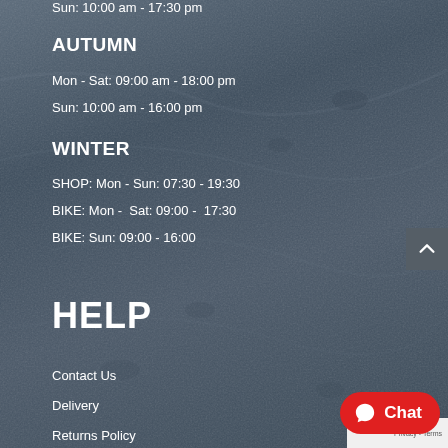Sun: 10:00 am - 17:30 pm
AUTUMN
Mon - Sat: 09:00 am - 18:00 pm
Sun: 10:00 am - 16:00 pm
WINTER
SHOP: Mon - Sun: 07:30 - 19:30
BIKE: Mon -  Sat: 09:00 -  17:30
BIKE: Sun: 09:00 - 16:00
HELP
Contact Us
Delivery
Returns Policy